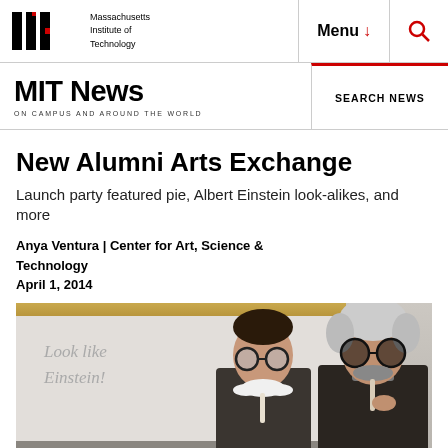Massachusetts Institute of Technology | Menu | Search
MIT News ON CAMPUS AND AROUND THE WORLD | SEARCH NEWS
New Alumni Arts Exchange
Launch party featured pie, Albert Einstein look-alikes, and more
Anya Ventura | Center for Art, Science & Technology
April 1, 2014
[Figure (photo): Two women holding Einstein costume props (fake mustache and novelty glasses) in front of a whiteboard that reads 'Look Like Einstein!']